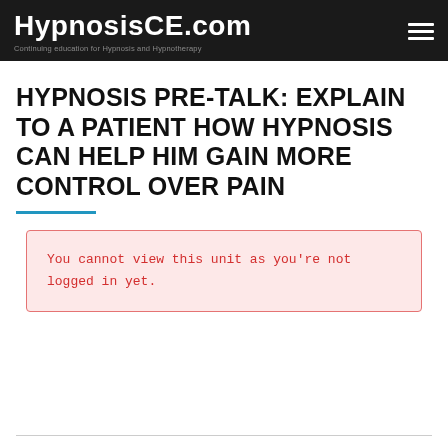HypnosisCE.com — Continuing education for Hypnosis and Hypnotherapy
HYPNOSIS PRE-TALK: EXPLAIN TO A PATIENT HOW HYPNOSIS CAN HELP HIM GAIN MORE CONTROL OVER PAIN
You cannot view this unit as you're not logged in yet.